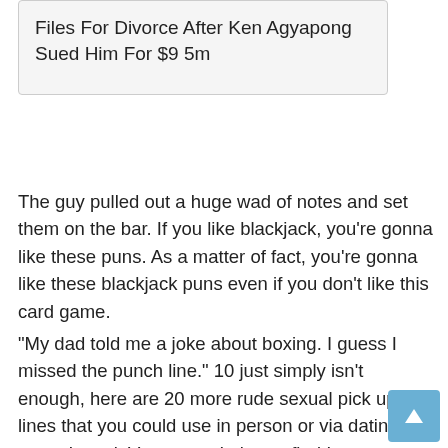Files For Divorce After Ken Agyapong Sued Him For $9 5m
The guy pulled out a huge wad of notes and set them on the bar. If you like blackjack, you're gonna like these puns. As a matter of fact, you're gonna like these blackjack puns even if you don't like this card game.
“My dad told me a joke about boxing. I guess I missed the punch line.” 10 just simply isn’t enough, here are 20 more rude sexual pick up lines that you could use in person or via dating apps. Love it Vanessa – I always find I am so serious in conversations and have